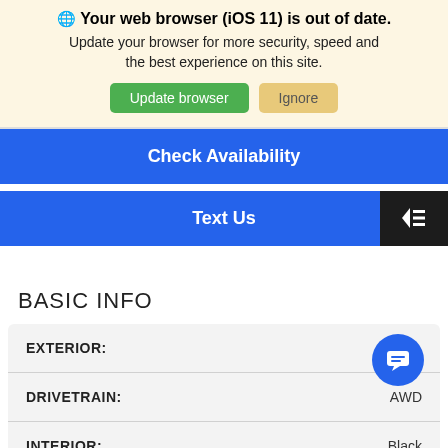🌐 Your web browser (iOS 11) is out of date. Update your browser for more security, speed and the best experience on this site. Update browser | Ignore
Check Availability
Text Us
BASIC INFO
| Field | Value |
| --- | --- |
| EXTERIOR: |  |
| DRIVETRAIN: | AWD |
| INTERIOR: | Black |